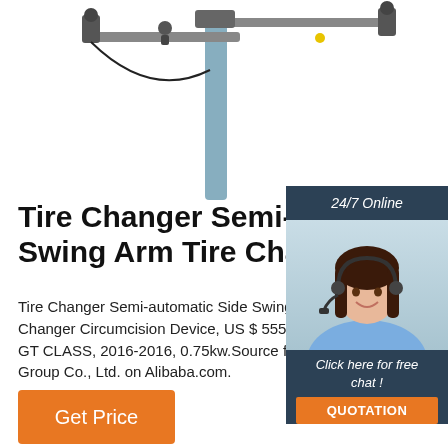[Figure (photo): Photo of tire changer machine with swing arm components, blue pole with attachments, shot from above against white background]
Tire Changer Semi-automatic Swing Arm Tire Changer ...
Tire Changer Semi-automatic Side Swing Arm Tire Changer Circumcision Device, US $ 555 - 59... GT CLASS, 2016-2016, 0.75kw.Source from... Group Co., Ltd. on Alibaba.com.
[Figure (photo): 24/7 Online chat widget with female customer service agent wearing headset, smiling, with Click here for free chat and QUOTATION button]
[Figure (logo): TOP logo in orange with red dot triangle above letters T-O-P]
Get Price